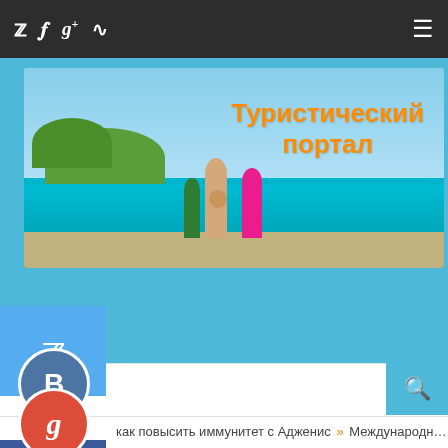Twitter, Facebook, Google+, RSS icons | Hamburger menu
[Figure (screenshot): Travel portal banner with beach scene and people (family). Text: Туристический портал]
[Figure (logo): Twitter bird icon floating button (cyan/blue background)]
[Figure (logo): VK (ВКонтакте) circle button]
Menu
[Figure (logo): Google+ circle button (red)]
как повысить иммунитет с Адженис » Международн…
[Figure (logo): Facebook square button (blue)]
АЯ » ФОРУМЫ » ФОРУМЫ » ТУРИСТЫ И ТУРИЗМ » РАЗНОЕ » (AUDIOBOOK) DOUBTING JESUS' RESURRECTION
Разное